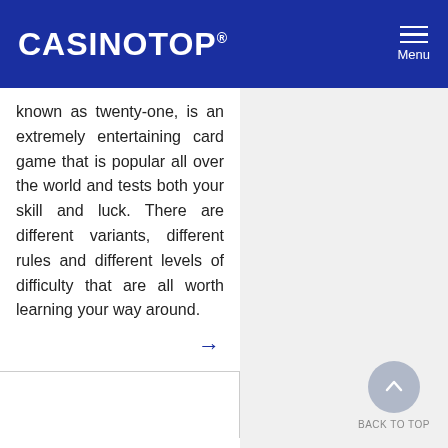CASINOTOP® Menu
known as twenty-one, is an extremely entertaining card game that is popular all over the world and tests both your skill and luck. There are different variants, different rules and different levels of difficulty that are all worth learning your way around.
Roulette